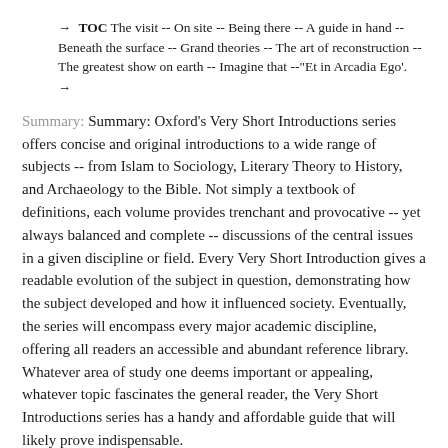→ TOC The visit -- On site -- Being there -- A guide in hand -- Beneath the surface -- Grand theories -- The art of reconstruction -- The greatest show on earth -- Imagine that --"Et in Arcadia Ego'.
→
Summary: Summary: Oxford's Very Short Introductions series offers concise and original introductions to a wide range of subjects -- from Islam to Sociology, Literary Theory to History, and Archaeology to the Bible. Not simply a textbook of definitions, each volume provides trenchant and provocative -- yet always balanced and complete -- discussions of the central issues in a given discipline or field. Every Very Short Introduction gives a readable evolution of the subject in question, demonstrating how the subject developed and how it influenced society. Eventually, the series will encompass every major academic discipline, offering all readers an accessible and abundant reference library. Whatever area of study one deems important or appealing, whatever topic fascinates the general reader, the Very Short Introductions series has a handy and affordable guide that will likely prove indispensable.